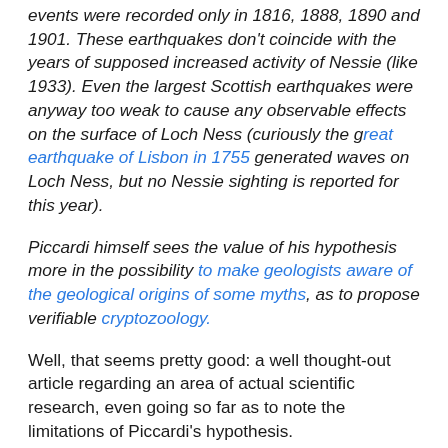events were recorded only in 1816, 1888, 1890 and 1901. These earthquakes don't coincide with the years of supposed increased activity of Nessie (like 1933). Even the largest Scottish earthquakes were anyway too weak to cause any observable effects on the surface of Loch Ness (curiously the great earthquake of Lisbon in 1755 generated waves on Loch Ness, but no Nessie sighting is reported for this year).
Piccardi himself sees the value of his hypothesis more in the possibility to make geologists aware of the geological origins of some myths, as to propose verifiable cryptozoology.
Well, that seems pretty good: a well thought-out article regarding an area of actual scientific research, even going so far as to note the limitations of Piccardi's hypothesis.